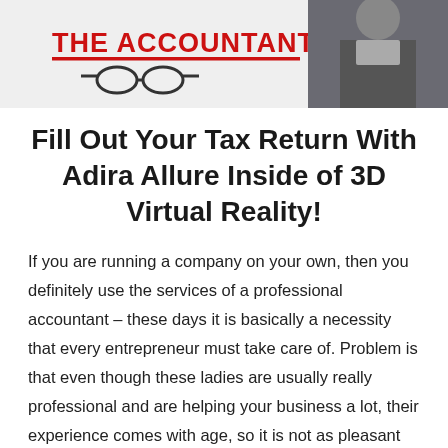[Figure (photo): Banner image showing 'THE ACCOUNTANT' text in red bold letters with a red underline, a pair of glasses, and a woman in black clothing on the right side]
Fill Out Your Tax Return With Adira Allure Inside of 3D Virtual Reality!
If you are running a company on your own, then you definitely use the services of a professional accountant – these days it is basically a necessity that every entrepreneur must take care of. Problem is that even though these ladies are usually really professional and are helping your business a lot, their experience comes with age, so it is not as pleasant